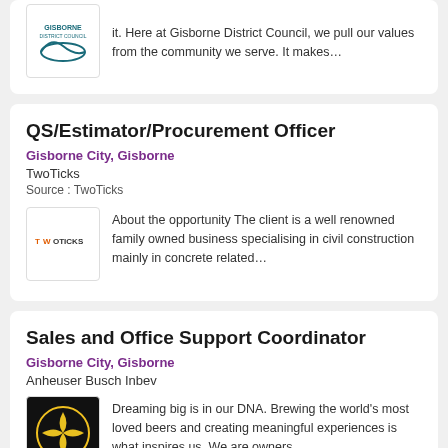it. Here at Gisborne District Council, we pull our values from the community we serve. It makes…
QS/Estimator/Procurement Officer
Gisborne City, Gisborne
TwoTicks
Source : TwoTicks
About the opportunity The client is a well renowned family owned business specialising in civil construction mainly in concrete related…
Sales and Office Support Coordinator
Gisborne City, Gisborne
Anheuser Busch Inbev
Dreaming big is in our DNA. Brewing the world's most loved beers and creating meaningful experiences is what inspires us. We are owners,…